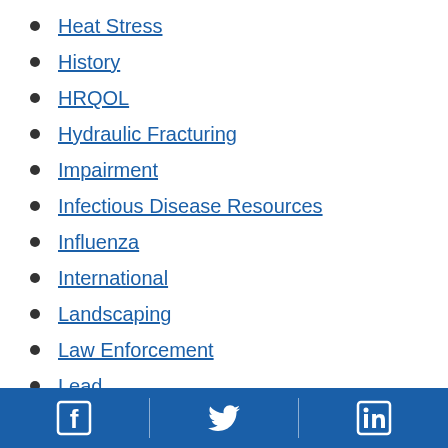Heat Stress
History
HRQOL
Hydraulic Fracturing
Impairment
Infectious Disease Resources
Influenza
International
Landscaping
Law Enforcement
Lead
Manufacturing
Manufacturing Member Series
Facebook | Twitter | LinkedIn